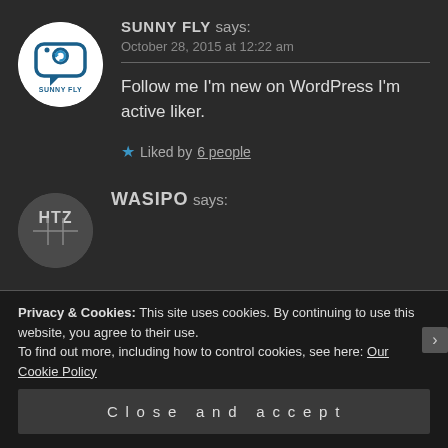[Figure (logo): Sunny Fly avatar logo: white circle with a camera/chat icon and 'SUNNY FLY' text below]
SUNNY FLY says:
October 28, 2015 at 12:22 am
Follow me I'm new on WordPress I'm active liker.
Liked by 6 people
[Figure (logo): WASIPO avatar: dark circle with stylized 'HZ' text]
WASIPO says:
Privacy & Cookies: This site uses cookies. By continuing to use this website, you agree to their use.
To find out more, including how to control cookies, see here: Our Cookie Policy
Close and accept